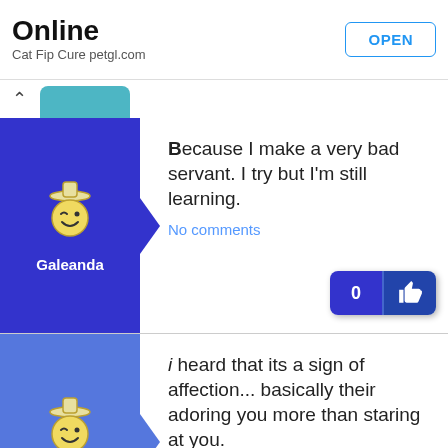Online
Cat Fip Cure petgl.com
Because I make a very bad servant. I try but I'm still learning.
No comments
i heard that its a sign of affection... basically their adoring you more than staring at you.
No comments